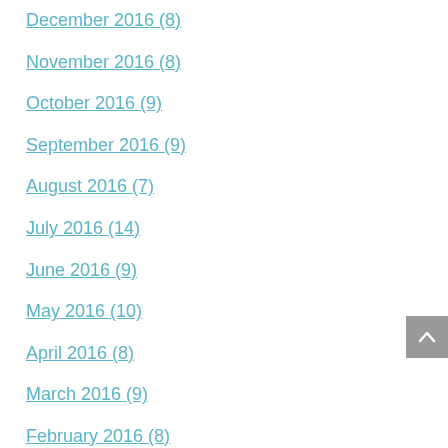December 2016 (8)
November 2016 (8)
October 2016 (9)
September 2016 (9)
August 2016 (7)
July 2016 (14)
June 2016 (9)
May 2016 (10)
April 2016 (8)
March 2016 (9)
February 2016 (8)
January 2016 (7)